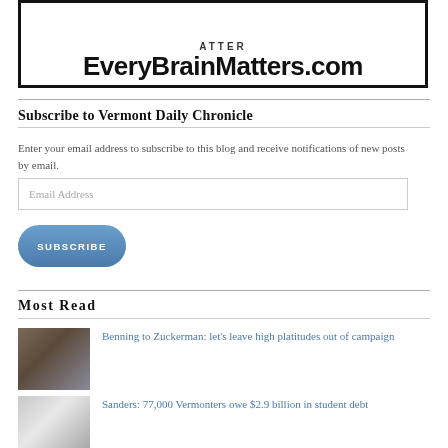[Figure (logo): EveryBrainMatters.com website logo with arc text above and bold domain name below, inside a black border box]
Subscribe to Vermont Daily Chronicle
Enter your email address to subscribe to this blog and receive notifications of new posts by email.
Email Address
SUBSCRIBE
Most Read
Benning to Zuckerman: let’s leave high platitudes out of campaign
Sanders: 77,000 Vermonters owe $2.9 billion in student debt